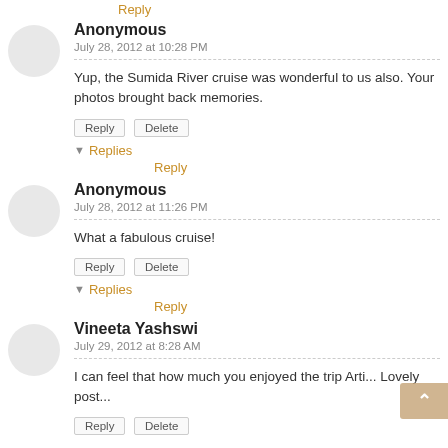Reply
Anonymous
July 28, 2012 at 10:28 PM
Yup, the Sumida River cruise was wonderful to us also. Your photos brought back memories.
Reply Delete
▾ Replies
Reply
Anonymous
July 28, 2012 at 11:26 PM
What a fabulous cruise!
Reply Delete
▾ Replies
Reply
Vineeta Yashswi
July 29, 2012 at 8:28 AM
I can feel that how much you enjoyed the trip Arti... Lovely post...
Reply Delete